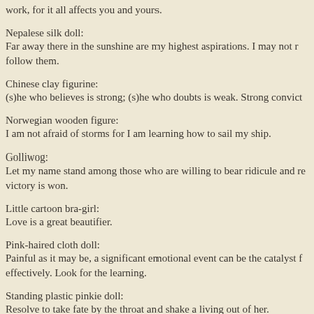work, for it all affects you and yours.
Nepalese silk doll:
Far away there in the sunshine are my highest aspirations. I may not reach them, but I can look up and see their beauty, believe in them, and try to follow them.
Chinese clay figurine:
(s)he who believes is strong; (s)he who doubts is weak. Strong convictions precede great actions.
Norwegian wooden figure:
I am not afraid of storms for I am learning how to sail my ship.
Golliwog:
Let my name stand among those who are willing to bear ridicule and reproach for the truth's sake, and so earn some right to rejoice when the victory is won.
Little cartoon bra-girl:
Love is a great beautifier.
Pink-haired cloth doll:
Painful as it may be, a significant emotional event can be the catalyst for choosing a direction of growth more so than an uneventful period. Use wisely, effectively. Look for the learning.
Standing plastic pinkie doll:
Resolve to take fate by the throat and shake a living out of her.